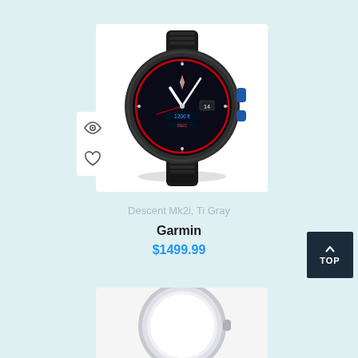[Figure (photo): Garmin Descent Mk2i smartwatch in titanium gray with black band, analog face with compass, red ring, and blue accent buttons]
Descent Mk2i, Ti Gray
Garmin
$1499.99
[Figure (photo): Partial view of a second watch (silver/chrome) appearing at the bottom of the page]